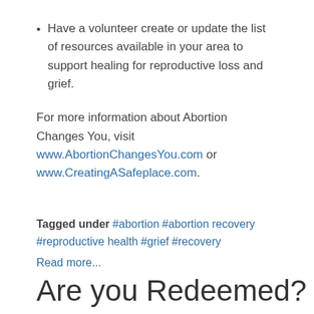Have a volunteer create or update the list of resources available in your area to support healing for reproductive loss and grief.
For more information about Abortion Changes You, visit www.AbortionChangesYou.com or www.CreatingASafeplace.com.
Tagged under  #abortion  #abortion recovery  #reproductive health  #grief  #recovery  Read more...
Are you Redeemed?